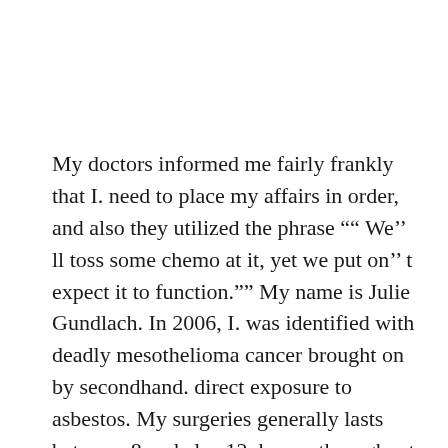My doctors informed me fairly frankly that I. need to place my affairs in order, and also they utilized the phrase "" We'' ll toss some chemo at it, yet we put on'' t expect it to function."" My name is Julie Gundlach. In 2006, I. was identified with deadly mesothelioma cancer brought on by secondhand. direct exposure to asbestos. My surgeries generally lasts between 8 and also 12. hours, throughout which they divided me from breastbone to pelvis, eliminate as much. tumor as they can, instill me with a heated